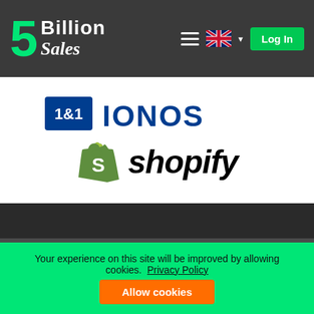5Billion Sales — header navigation with Log In button
[Figure (logo): 1&1 IONOS logo — blue square with '1&1' text and 'IONOS' wordmark in blue]
[Figure (logo): Shopify logo — green shopping bag icon with 'S' and 'shopify' wordmark in bold italic black]
HOW IT WORKS
Y... (partially visible text beginning)
Your experience on this site will be improved by allowing cookies.
Privacy Policy
Allow cookies